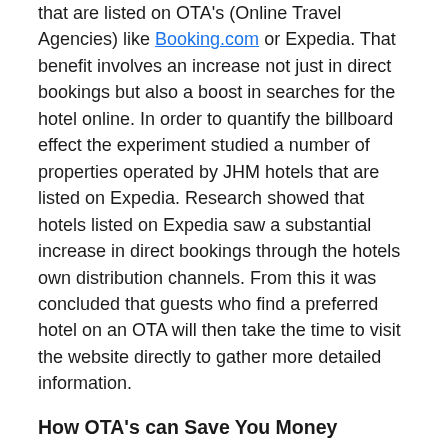that are listed on OTA's (Online Travel Agencies) like Booking.com or Expedia. That benefit involves an increase not just in direct bookings but also a boost in searches for the hotel online. In order to quantify the billboard effect the experiment studied a number of properties operated by JHM hotels that are listed on Expedia. Research showed that hotels listed on Expedia saw a substantial increase in direct bookings through the hotels own distribution channels. From this it was concluded that guests who find a preferred hotel on an OTA will then take the time to visit the website directly to gather more detailed information.
How OTA's can Save You Money
OTA's make huge advertising investments to bolster and ensure their continued success. While smaller hotels can't afford this kind of expense, through their listings on these channels, they can stand on the shoulders of these giants to announce their own business and indirectly benefit from OTA's online visibility. In the study mentioned at the outset